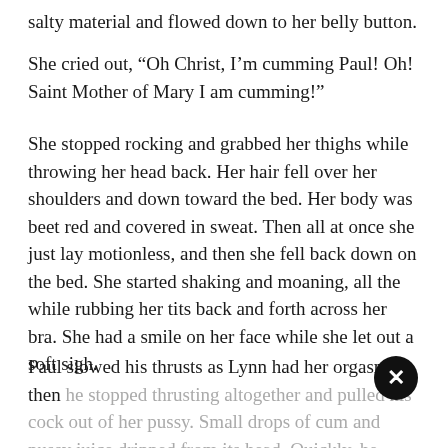salty material and flowed down to her belly button.
She cried out, “Oh Christ, I’m cumming Paul! Oh! Saint Mother of Mary I am cumming!”
She stopped rocking and grabbed her thighs while throwing her head back. Her hair fell over her shoulders and down toward the bed. Her body was beet red and covered in sweat. Then all at once she just lay motionless, and then she fell back down on the bed. She started shaking and moaning, all the while rubbing her tits back and forth across her bra. She had a smile on her face while she let out a soft sigh.
Paul slowed his thrusts as Lynn had her orgasm, then he stopped thrusting altogether and pulled his cock out of her pussy. Small drops of cum and pussy juice dripped from its head. Quickly, he pulled down the front of her pantyhose and placed his cock on her trimmed bush. He rubbed her along with it as her...